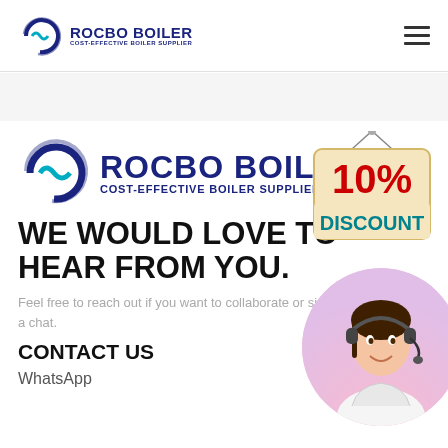ROCBO BOILER - COST-EFFECTIVE BOILER SUPPLIER
[Figure (logo): Rocbo Boiler logo with crescent moon and wave icon, text ROCBO BOILER / COST-EFFECTIVE BOILER SUPPLIER]
[Figure (illustration): 10% DISCOUNT hanging sign badge]
WE WOULD LOVE TO HEAR FROM YOU.
Feel free to reach out if you want to collaborate or simply have a chat.
CONTACT US
WhatsApp
[Figure (photo): Customer service agent woman wearing headset, circular cropped photo]